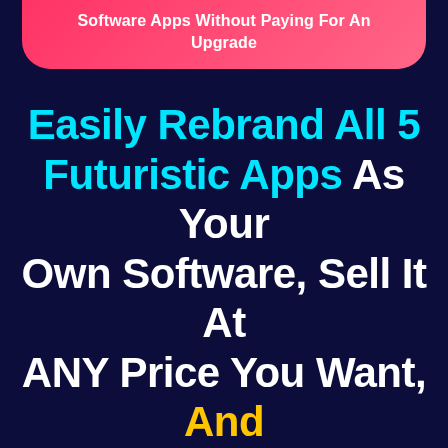Software Apps Without Paying For An Upgrade
Easily Rebrand All 5 Futuristic Apps As Your Own Software, Sell It At ANY Price You Want, And Keep 100% Of The Profits… OR Offer As A High-End Service To Businesses For Easy High-Ticket Pay Days